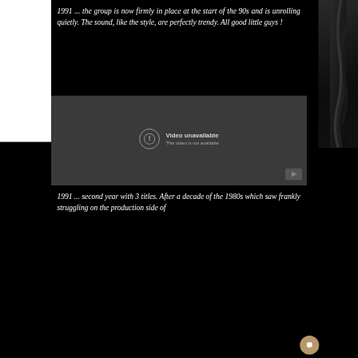1991 ... the group is now firmly in place at the start of the 90s and is unrolling quietly. The sound, like the style, are perfectly trendy. All good little guys !
[Figure (screenshot): Embedded video player showing 'Video unavailable - This video is not available' error message with YouTube logo in corner]
1991 ... second year with 3 titles. After a decade of the 1980s which saw frankly struggling on the production side of